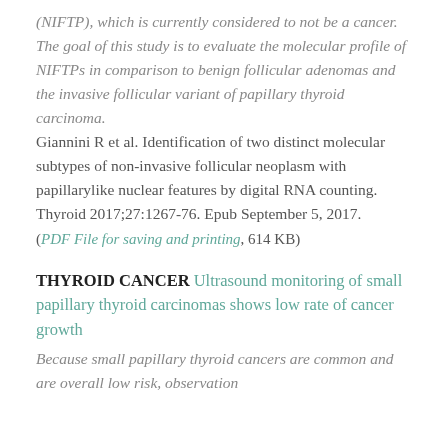(NIFTP), which is currently considered to not be a cancer. The goal of this study is to evaluate the molecular profile of NIFTPs in comparison to benign follicular adenomas and the invasive follicular variant of papillary thyroid carcinoma. Giannini R et al. Identification of two distinct molecular subtypes of non-invasive follicular neoplasm with papillarylike nuclear features by digital RNA counting. Thyroid 2017;27:1267-76. Epub September 5, 2017.
(PDF File for saving and printing, 614 KB)
THYROID CANCER Ultrasound monitoring of small papillary thyroid carcinomas shows low rate of cancer growth
Because small papillary thyroid cancers are common and are overall low risk, observation